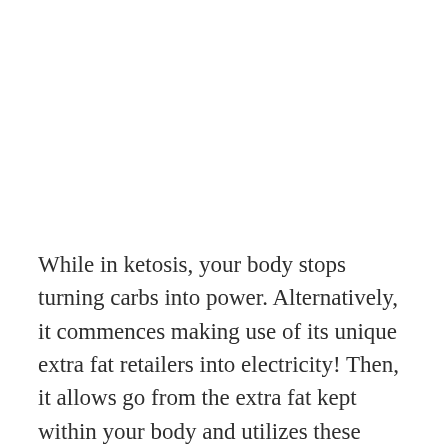While in ketosis, your body stops turning carbs into power. Alternatively, it commences making use of its unique extra fat retailers into electricity! Then, it allows go from the extra fat kept within your body and utilizes these people to make a move. Also, Mannys Body Purifire Ketogenic Weight Reduction Assistance by natural means activates our bodies to ketosis! Once you get in the